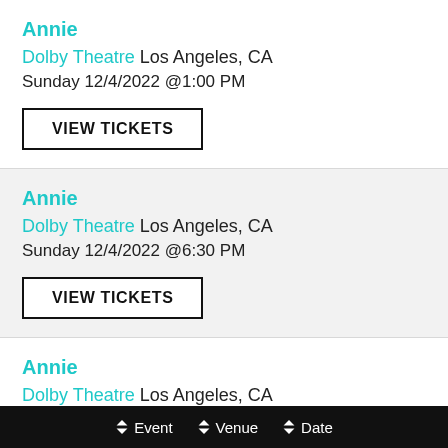Annie
Dolby Theatre Los Angeles, CA
Sunday 12/4/2022 @1:00 PM
VIEW TICKETS
Annie
Dolby Theatre Los Angeles, CA
Sunday 12/4/2022 @6:30 PM
VIEW TICKETS
Annie
Dolby Theatre Los Angeles, CA
Tuesday 12/6/2022 @8:00 PM
VIEW TICKETS
Event  Venue  Date